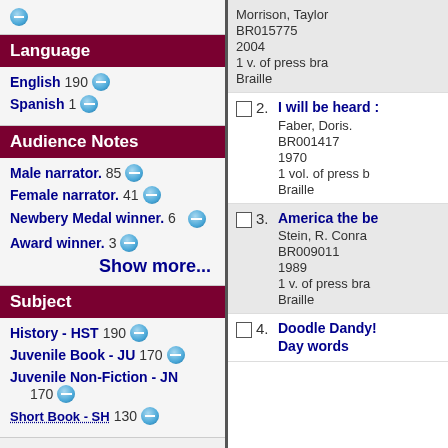English 190 [minus]
Spanish 1 [minus]
Audience Notes
Male narrator. 85 [minus]
Female narrator. 41 [minus]
Newbery Medal winner. 6 [minus]
Award winner. 3 [minus]
Show more...
Subject
History - HST 190 [minus]
Juvenile Book - JU 170 [minus]
Juvenile Non-Fiction - JN 170 [minus]
Short Book - SH 130 [minus]
Morrison, Taylor
BR015775
2004
1 v. of press bra
Braille
2. I will be heard :
Faber, Doris.
BR001417
1970
1 vol. of press b
Braille
3. America the be
Stein, R. Conra
BR009011
1989
1 v. of press bra
Braille
4. Doodle Dandy! /
Day words